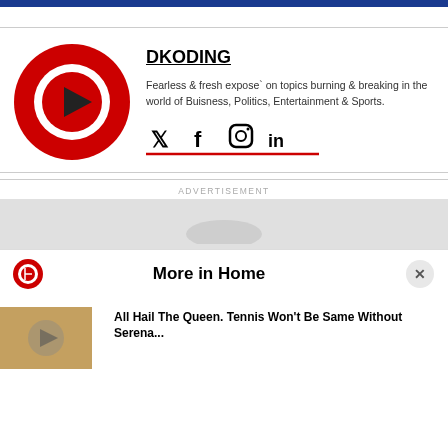[Figure (logo): DKODING logo: red circle with white ring and black play triangle in center]
DKODING
Fearless & fresh expose` on topics burning & breaking in the world of Buisness, Politics, Entertainment & Sports.
[Figure (infographic): Social media icons: Twitter, Facebook, Instagram, LinkedIn with red underline]
ADVERTISEMENT
[Figure (other): Advertisement placeholder box]
More in Home
All Hail The Queen. Tennis Won't Be Same Without Serena...